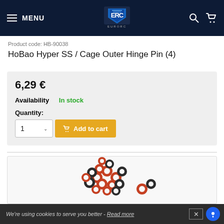MENU | EuroRC Logo | Search | Cart
Product code: HB-90038
HoBao Hyper SS / Cage Outer Hinge Pin (4)
6,29 €
Availability  In stock
Quantity: 1  Add to cart
[Figure (photo): Small red and black rubber O-rings scattered on a white background]
We're using cookies to serve you better - Read more  ×